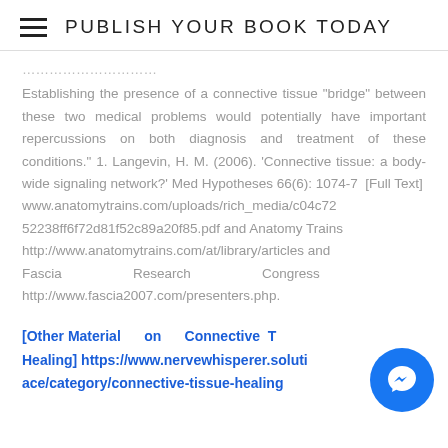PUBLISH YOUR BOOK TODAY
Establishing the presence of a connective tissue "bridge" between these two medical problems would potentially have important repercussions on both diagnosis and treatment of these conditions." 1. Langevin, H. M. (2006). 'Connective tissue: a body-wide signaling network?' Med Hypotheses 66(6): 1074-7  [Full Text] www.anatomytrains.com/uploads/rich_media/c04c7252238ff6f72d81f52c89a20f85.pdf and Anatomy Trains http://www.anatomytrains.com/at/library/articles and Fascia Research Congress http://www.fascia2007.com/presenters.php.
[Other Material on Connective Tissue Healing] https://www.nervewhisperer.solutions/category/connective-tissue-healing